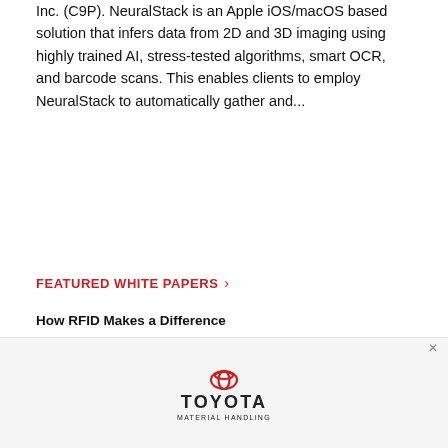Inc. (C9P). NeuralStack is an Apple iOS/macOS based solution that infers data from 2D and 3D imaging using highly trained AI, stress-tested algorithms, smart OCR, and barcode scans. This enables clients to employ NeuralStack to automatically gather and...
FEATURED WHITE PAPERS >
How RFID Makes a Difference
Cubiscan: Dimensioning for Profit
Peak preparation: Charting a course to handle peak demand
Choose the Best Auto ID Technology for Tracking RTIs
VIEW MORE
[Figure (illustration): Toyota Material Handling advertisement banner with logo and partial image of equipment at bottom]